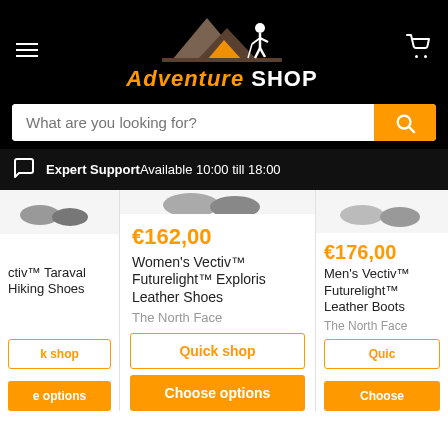[Figure (logo): Adventure Shop logo with mountains and hiker silhouette illustration]
What are you looking for?
Expert Support Available 10:00 till 18:00
€162,00
Women's Vectiv™ Futurelight™ Exploris Leather Shoes
The North Face
€176,00
Men's Vectiv™ Futurelight™ Leather Boots
The North Face
Quick shop
Choose options
Quick shop
Choose options